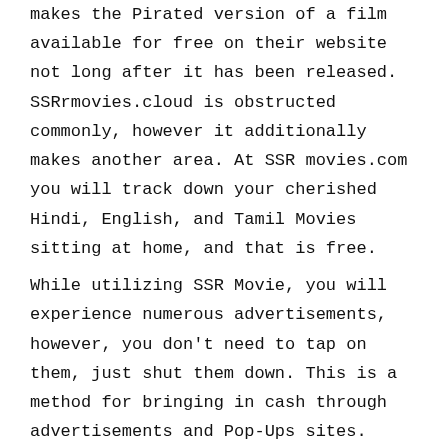makes the Pirated version of a film available for free on their website not long after it has been released. SSRrmovies.cloud is obstructed commonly, however it additionally makes another area. At SSR movies.com you will track down your cherished Hindi, English, and Tamil Movies sitting at home, and that is free.
While utilizing SSR Movie, you will experience numerous advertisements, however, you don't need to tap on them, just shut them down. This is a method for bringing in cash through advertisements and Pop-Ups sites.
ARE SSR MOVIES SAFE
These sorts of Torrent sites are not secure by any means. By utilizing them, there is a danger that infections will attack your gadget, and yet, and may represent a danger to your protection.
Features
The SSRMovies webpage has many highlights that make it not the same as any remaining Pirated sites. Coming up next are a